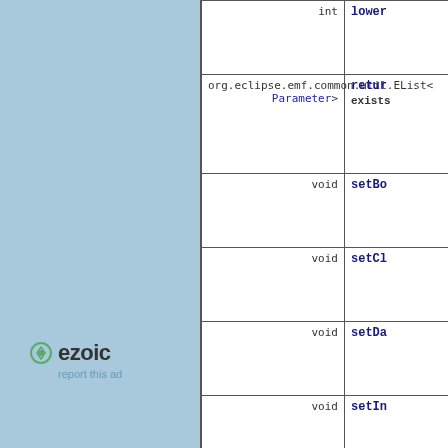[Figure (logo): Ezoic advertisement logo with circular icon and 'ezoic' text, with 'report this ad' subtext]
| Return Type | Method |
| --- | --- |
| int | lower... |
| org.eclipse.emf.common.util.EList<
Parameter> | retur...
exists... |
| void | setBo... |
| void | setCl... |
| void | setDa... |
| void | setIn... |
| void | setIs... |
| void | setIs... |
| void | setIs... |
| void | ... |